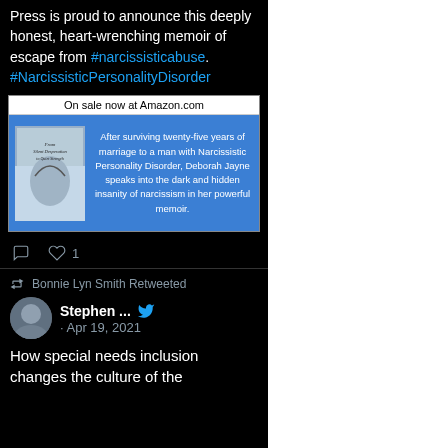Press is proud to announce this deeply honest, heart-wrenching memoir of escape from #narcissisticabuse. #NarcissisticPersonalityDisorder
[Figure (other): Book advertisement image showing book 'From Silent Desperation to Quiet Strength' on blue background with text: 'On sale now at Amazon.com'. Caption: After surviving twenty-five years of marriage to a man with Narcissistic Personality Disorder, Deborah Jayne speaks into the dark and hidden insanity of narcissism in her powerful memoir.]
♡ 1
Bonnie Lyn Smith Retweeted
Stephen ... · Apr 19, 2021
How special needs inclusion changes the culture of the